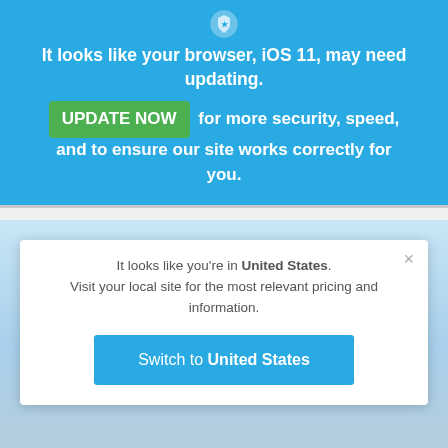[Figure (screenshot): Shield/lock icon at top of browser update banner]
It looks like your browser, iOS 11, may need updating.
UPDATE NOW for more security, speed, and to ensure our site works correctly for you.
[Figure (screenshot): Blue sky background with modal dialog overlay]
It looks like you're in United States. Visit your local site for the most relevant pricing and information.
Switch to United States